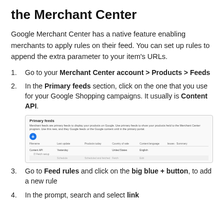the Merchant Center
Google Merchant Center has a native feature enabling merchants to apply rules on their feed. You can set up rules to append the extra parameter to your item's URLs.
Go to your Merchant Center account > Products > Feeds
In the Primary feeds section, click on the one that you use for your Google Shopping campaigns. It usually is Content API.
[Figure (screenshot): Screenshot of the Primary feeds section in Google Merchant Center showing a blue + button and a table with feed listings including Content API row.]
Go to Feed rules and click on the big blue + button, to add a new rule
In the prompt, search and select link